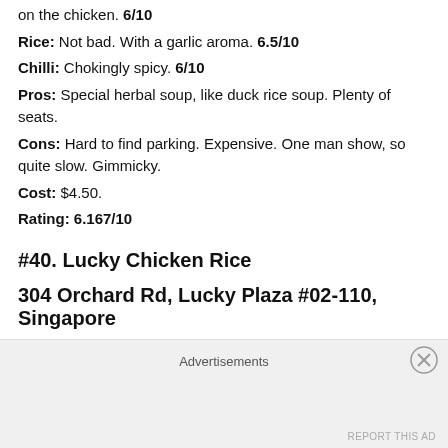on the chicken. 6/10
Rice: Not bad. With a garlic aroma. 6.5/10
Chilli: Chokingly spicy. 6/10
Pros: Special herbal soup, like duck rice soup. Plenty of seats.
Cons: Hard to find parking. Expensive. One man show, so quite slow. Gimmicky.
Cost: $4.50.
Rating: 6.167/10
#40. Lucky Chicken Rice
304 Orchard Rd, Lucky Plaza #02-110, Singapore
Advertisements